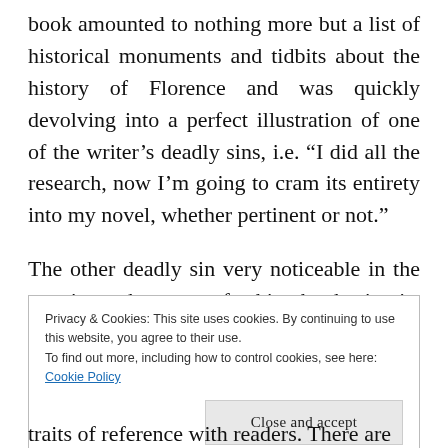book amounted to nothing more but a list of historical monuments and tidbits about the history of Florence and was quickly devolving into a perfect illustration of one of the writer's deadly sins, i.e. “I did all the research, now I’m going to cram its entirety into my novel, whether pertinent or not.”
The other deadly sin very noticeable in the opening chapters of this book is its geekiness.
Privacy & Cookies: This site uses cookies. By continuing to use this website, you agree to their use. To find out more, including how to control cookies, see here: Cookie Policy
Close and accept
traits of reference with readers. There are